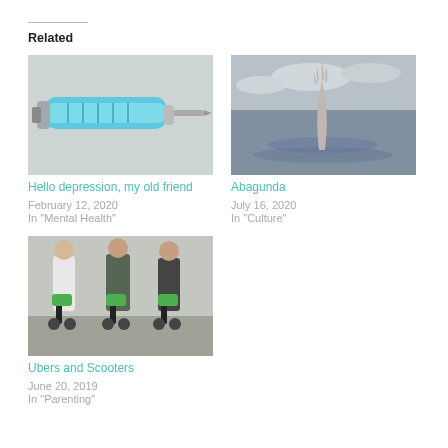Related
[Figure (photo): Close-up photo of a blue syringe on a light background]
Hello depression, my old friend
February 12, 2020
In "Mental Health"
[Figure (photo): Grayscale photo of a hand reaching up from water]
Abagunda
July 16, 2020
In "Culture"
[Figure (photo): Photo of people riding lime-green electric scooters on a street]
Ubers and Scooters
June 20, 2019
In "Parenting"